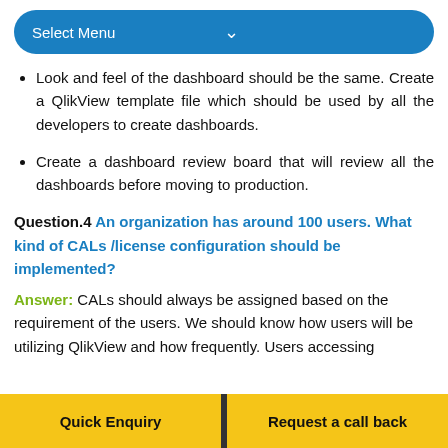Select Menu
Look and feel of the dashboard should be the same. Create a QlikView template file which should be used by all the developers to create dashboards.
Create a dashboard review board that will review all the dashboards before moving to production.
Question.4 An organization has around 100 users. What kind of CALs /license configuration should be implemented?
Answer: CALs should always be assigned based on the requirement of the users. We should know how users will be utilizing QlikView and how frequently. Users accessing
Quick Enquiry   Request a call back